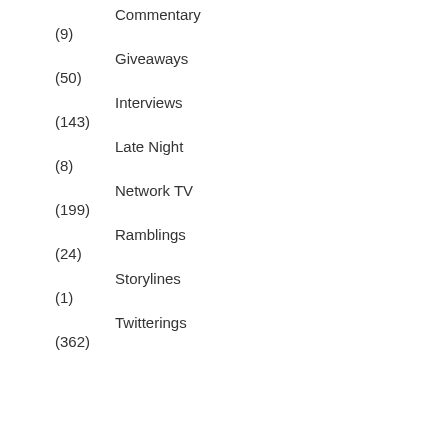Commentary
(9)
Giveaways
(50)
Interviews
(143)
Late Night
(8)
Network TV
(199)
Ramblings
(24)
Storylines
(1)
Twitterings
(362)